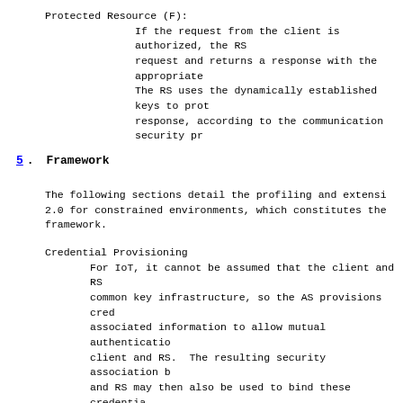Protected Resource (F):
    If the request from the client is authorized, the RS
    request and returns a response with the appropriate
    The RS uses the dynamically established keys to prot
    response, according to the communication security pr
5.  Framework
The following sections detail the profiling and extensi
2.0 for constrained environments, which constitutes the
framework.
Credential Provisioning
    For IoT, it cannot be assumed that the client and RS
    common key infrastructure, so the AS provisions cred
    associated information to allow mutual authenticatio
    client and RS.  The resulting security association b
    and RS may then also be used to bind these credentia
    access tokens the client uses.
Proof-of-Possession
    The ACE framework, by default, implements proof-of-p
    access tokens, i.e., that the token holder can prove
    holder of the key bound to the token.  The binding i
    the "cnf" claim [I-D.ietf-ace-cwt-proof-of-possessio
    what key is used for proof-of-possession.  If a clie
    submit a new access token, e.g., to obtain additiona